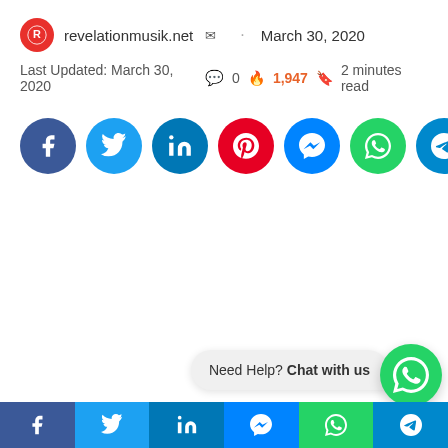revelationmusik.net  · March 30, 2020
Last Updated: March 30, 2020  💬 0  🔥 1,947  🔖 2 minutes read
[Figure (infographic): Row of 8 social share buttons as colored circles: Facebook (blue), Twitter (cyan), LinkedIn (dark cyan), Pinterest (red), Messenger (blue), WhatsApp (green), Telegram (teal), Email (dark)]
Need Help? Chat with us
[Figure (infographic): Bottom bar with 6 social media icons: Facebook, Twitter, LinkedIn, Messenger, WhatsApp, Telegram]